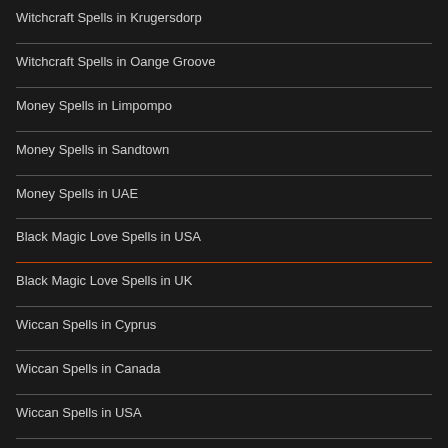Witchcraft Spells in Krugersdorp
Witchcraft Spells in Oange Groove
Money Spells in Limpompo
Money Spells in Sandtown
Money Spells in UAE
Black Magic Love Spells in USA
Black Magic Love Spells in UK
Wiccan Spells in Cyprus
Wiccan Spells in Canada
Wiccan Spells in USA
Traditional Healer in Soweto